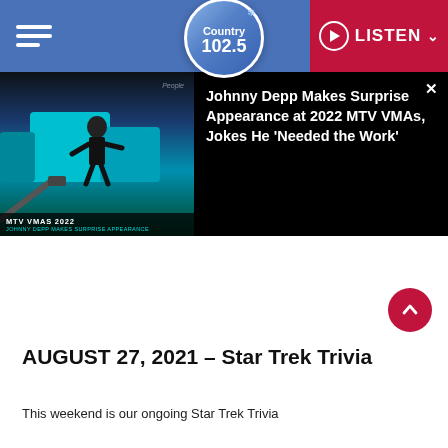Country 102.5 | LISTEN
[Figure (screenshot): Video player overlay showing Johnny Depp at MTV VMAs 2022 with article title: Johnny Depp Makes Surprise Appearance at 2022 MTV VMAs, Jokes He 'Needed the Work']
AUGUST 27, 2021 – Star Trek Trivia
This weekend is our ongoing Star Trek Trivia